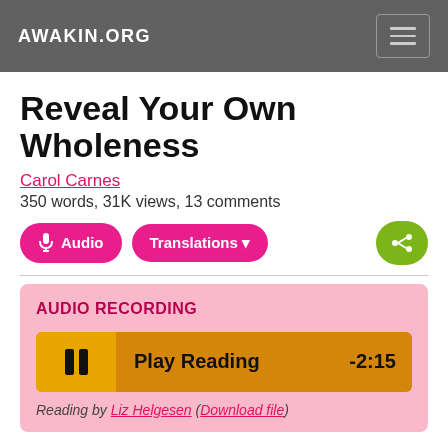AWAKIN.ORG
Reveal Your Own Wholeness
Carol Carnes
350 words, 31K views, 13 comments
AUDIO RECORDING
Play Reading   -2:15
Reading by Liz Helgesen (Download file)